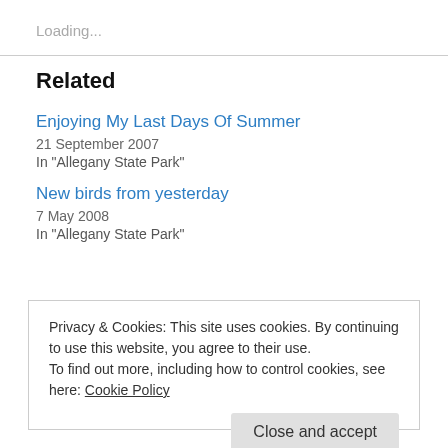Loading...
Related
Enjoying My Last Days Of Summer
21 September 2007
In "Allegany State Park"
New birds from yesterday
7 May 2008
In "Allegany State Park"
Privacy & Cookies: This site uses cookies. By continuing to use this website, you agree to their use.
To find out more, including how to control cookies, see here: Cookie Policy
Close and accept